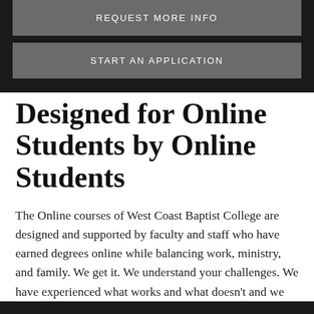REQUEST MORE INFO
START AN APPLICATION
Designed for Online Students by Online Students
The Online courses of West Coast Baptist College are designed and supported by faculty and staff who have earned degrees online while balancing work, ministry, and family. We get it. We understand your challenges. We have experienced what works and what doesn't and we have tailored a bachelor program to maximize flexibility while providing you the greatest opportunity for success.